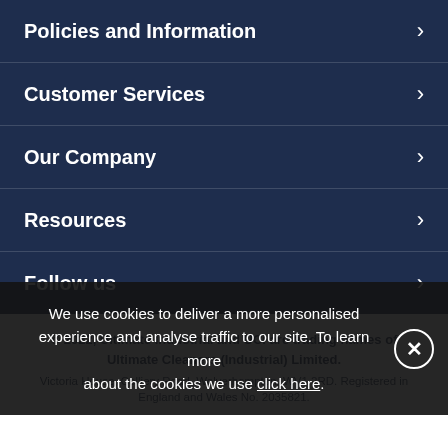Policies and Information
Customer Services
Our Company
Resources
Follow us
© 2022, Ultimate Industrial and UCi are trading names of Ultimate Cleaners (Industrial) Limited. Victoria House, Colliery Road, Wolverhampton, WV1 2RD. Registered in England and Wales No. 2035821.
We use cookies to deliver a more personalised experience and analyse traffic to our site. To learn more about the cookies we use click here.